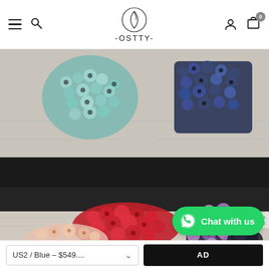OSTTY - navigation bar with hamburger menu, search, logo, account, and cart (0 items)
[Figure (photo): Product page showing sequin fabric swatches in various colors: teal/silver, dark navy, red, pink/purple mixed, and rose gold sequin samples arranged on a white surface. Two rows of samples visible with some partially cut off at bottom.]
US2 / Blue – $549....
AD
Chat with us